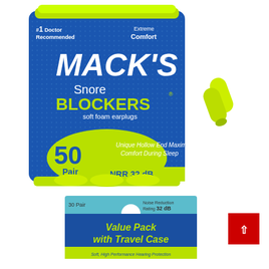[Figure (photo): Mack's Snore Blockers soft foam earplugs, 50 pair canister with NRR 32 dB rating, #1 Doctor Recommended, Extreme Comfort, with loose yellow-green earplugs shown beside the container]
[Figure (photo): Mack's earplugs Value Pack with Travel Case, 30 pair, Noise Reduction Rating 32 dB, teal and yellow-green packaging]
[Figure (other): Small red square with white upward arrow, likely a scroll-to-top button]